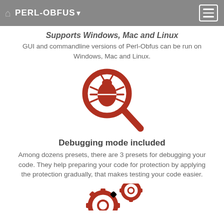PERL-OBFUS
Supports Windows, Mac and Linux
GUI and commandline versions of Perl-Obfus can be run on Windows, Mac and Linux.
[Figure (illustration): Red magnifying glass icon with a bug inside it]
Debugging mode included
Among dozens presets, there are 3 presets for debugging your code. They help preparing your code for protection by applying the protection gradually, that makes testing your code easier.
[Figure (illustration): Red gear/cog icons (partially visible at bottom of page)]